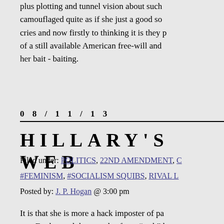plus plotting and tunnel vision about such camouflaged quite as if she just a good so cries and now firstly to thinking it is they p of a still available American free-will and her bait - baiting.
0 8 / 1 1 / 1 3
HILLARY'S WEB
Filed under: POLITICS, 22ND AMENDMENT, C
#FEMINISM, #SOCIALISM SQUIBS, RIVAL L
Posted by: J. P. Hogan @ 3:00 pm
It is that she is more a hack imposter of pa art.  For her and the strands of any “web” k Jackson Pollock and more as if spaghetti th
She has been about a lot of flash but little a Diplomat - seems.  She has been it seems too cold - as if all she has served has never